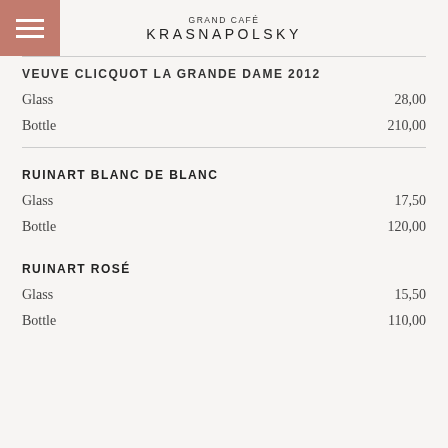GRAND CAFÉ KRASNAPOLSKY
VEUVE CLICQUOT LA GRANDE DAME 2012
Glass  28,00
Bottle  210,00
RUINART BLANC DE BLANC
Glass  17,50
Bottle  120,00
RUINART ROSÉ
Glass  15,50
Bottle  110,00